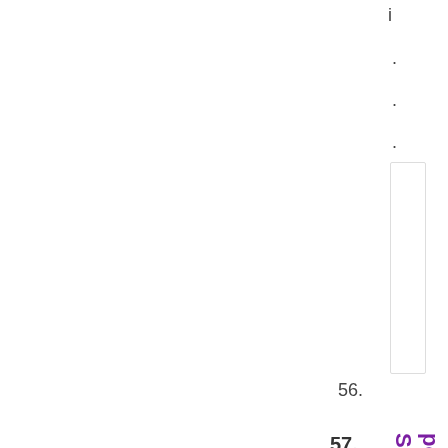i
. . .
56.
57. Delhi polls: Suffering